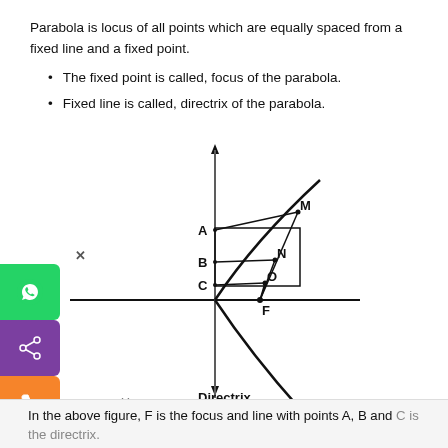Parabola is locus of all points which are equally spaced from a fixed line and a fixed point.
The fixed point is called, focus of the parabola.
Fixed line is called, directrix of the parabola.
[Figure (engineering-diagram): Diagram of a parabola showing vertical axis, horizontal axis (directrix line), focus point F, points A, B, C on the directrix, points M, N, O on the parabola, with the parabola curve opening to the right and the directrix as a vertical line on the left labeled 'Directrix'.]
In the above figure, F is the focus and line with points A, B and C is the directrix.